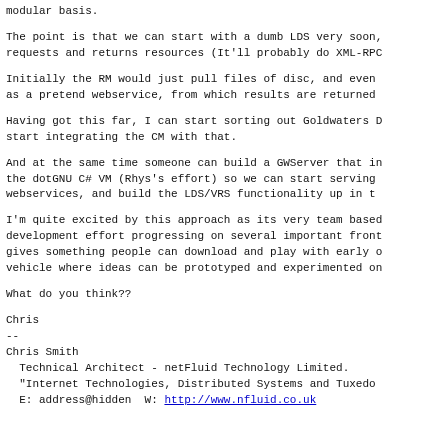modular basis.
The point is that we can start with a dumb LDS very soon, requests and returns resources (It'll probably do XML-RPC
Initially the RM would just pull files of disc, and even as a pretend webservice, from which results are returned
Having got this far, I can start sorting out Goldwaters D start integrating the CM with that.
And at the same time someone can build a GWServer that in the dotGNU C# VM (Rhys's effort) so we can start serving webservices, and build the LDS/VRS functionality up in t
I'm quite excited by this approach as its very team based development effort progressing on several important front gives something people can download and play with early o vehicle where ideas can be prototyped and experimented on
What do you think??
Chris
--
Chris Smith
  Technical Architect - netFluid Technology Limited.
  "Internet Technologies, Distributed Systems and Tuxedo
  E: address@hidden  W: http://www.nfluid.co.uk